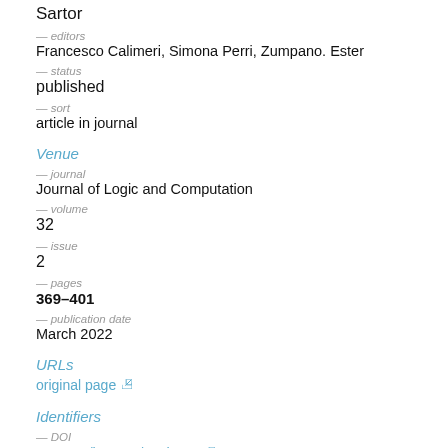Sartor
— editors
Francesco Calimeri, Simona Perri, Zumpano. Ester
— status
published
— sort
article in journal
Venue
— journal
Journal of Logic and Computation
— volume
32
— issue
2
— pages
369–401
— publication date
March 2022
URLs
original page
Identifiers
— DOI
10.1093/logcom/exab089
— DBLP